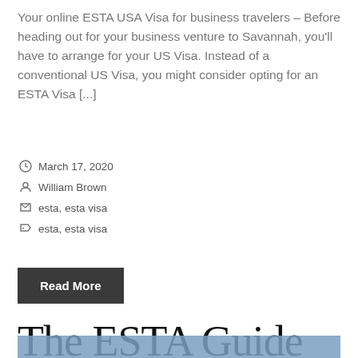Your online ESTA USA Visa for business travelers – Before heading out for your business venture to Savannah, you'll have to arrange for your US Visa. Instead of a conventional US Visa, you might consider opting for an ESTA Visa [...]
March 17, 2020
William Brown
esta, esta visa
esta, esta visa
Read More
The ESTA Guide on the US TSA PreCheck program
[Figure (other): Blue banner/header image at the bottom of the page]